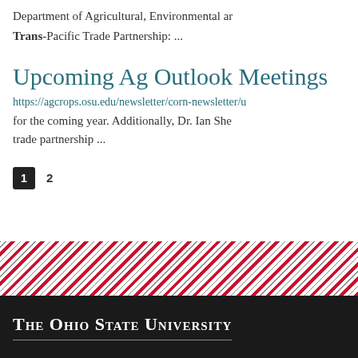Department of Agricultural, Environmental ar
Trans-Pacific Trade Partnership: ...
Upcoming Ag Outlook Meetings
https://agcrops.osu.edu/newsletter/corn-newsletter/u for the coming year. Additionally, Dr. Ian She trade partnership ...
1
2
The Ohio State University